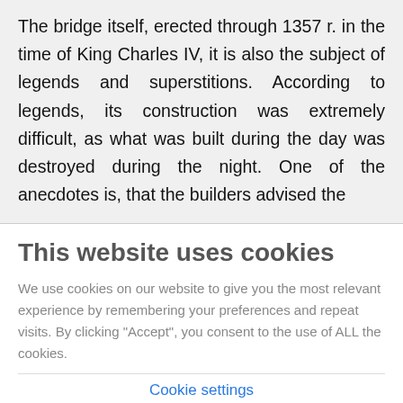The bridge itself, erected through 1357 r. in the time of King Charles IV, it is also the subject of legends and superstitions. According to legends, its construction was extremely difficult, as what was built during the day was destroyed during the night. One of the anecdotes is, that the builders advised the
[Figure (screenshot): Cookie consent modal overlay with title 'This website uses cookies', body text about cookie usage, a 'Cookie settings' link button, and a green 'Accept' button.]
covenant with the Devil. So he can fix the bridge, the builder